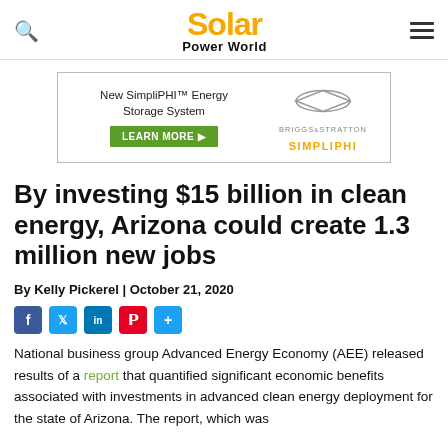Solar Power World
[Figure (infographic): Advertisement for New SimpliPHI Energy Storage System by Briggs & Stratton / SimpliPHI with Learn More button]
By investing $15 billion in clean energy, Arizona could create 1.3 million new jobs
By Kelly Pickerel | October 21, 2020
[Figure (infographic): Social sharing icons: Facebook, Twitter, LinkedIn, Pinterest, Share]
National business group Advanced Energy Economy (AEE) released results of a report that quantified significant economic benefits associated with investments in advanced clean energy deployment for the state of Arizona. The report, which was